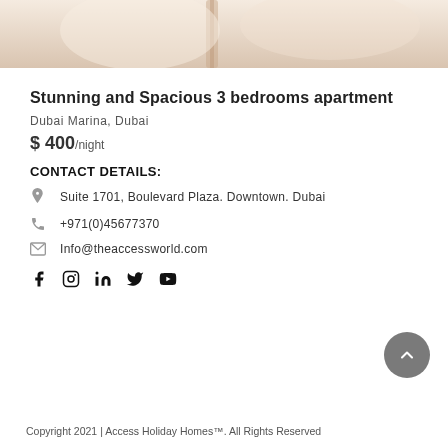[Figure (photo): Partial bottom of a room photo showing light beige/cream interior with decorative element]
Stunning and Spacious 3 bedrooms apartment
Dubai Marina, Dubai
$ 400 /night
CONTACT DETAILS:
Suite 1701, Boulevard Plaza. Downtown. Dubai
+971(0)45677370
Info@theaccessworld.com
[Figure (illustration): Social media icons: Facebook, Instagram, LinkedIn, Twitter, YouTube]
Copyright 2021 | Access Holiday Homes™. All Rights Reserved